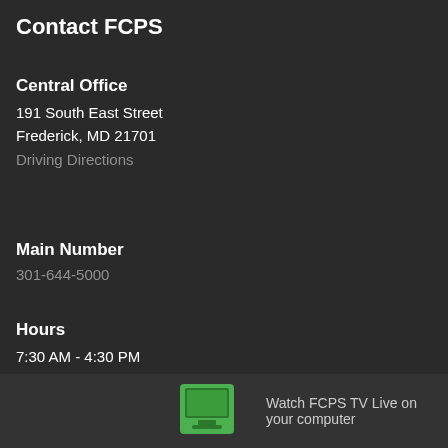Contact FCPS
Central Office
191 South East Street
Frederick, MD 21701
Driving Directions
Main Number
301-644-5000
Hours
7:30 AM - 4:30 PM
Monday - Friday
Watch FCPS TV Live on your computer